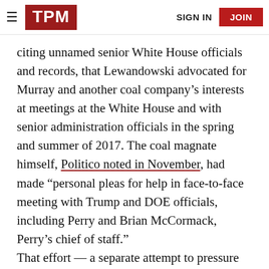TPM | SIGN IN | JOIN
citing unnamed senior White House officials and records, that Lewandowski advocated for Murray and another coal company's interests at meetings at the White House and with senior administration officials in the spring and summer of 2017. The coal magnate himself, Politico noted in November, had made “personal pleas for help in face-to-face meeting with Trump and DOE officials, including Perry and Brian McCormack, Perry’s chief of staff.”
That effort — a separate attempt to pressure Trump into declaring an emergency to keep certain ailing coal plants open — failed.